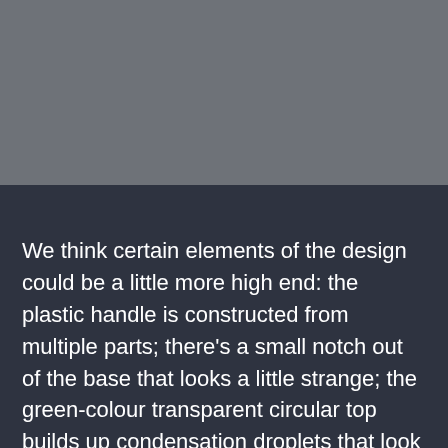[Figure (photo): Gray rectangular image placeholder area at the top of the page]
We think certain elements of the design could be a little more high end: the plastic handle is constructed from multiple parts; there's a small notch out of the base that looks a little strange; the green-colour transparent circular top builds up condensation droplets that look odd.
Saying that our previous kettle was a couple of years old and given the hard water in London it has